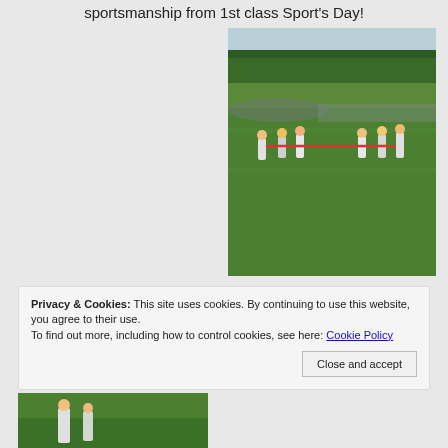sportsmanship from 1st class Sport's Day!
[Figure (photo): Children playing tug of war on a grass field during Sports Day, with trees in the background]
Privacy & Cookies: This site uses cookies. By continuing to use this website, you agree to their use.
To find out more, including how to control cookies, see here: Cookie Policy
Close and accept
[Figure (photo): Partial view of another sports day photo at the bottom of the page]